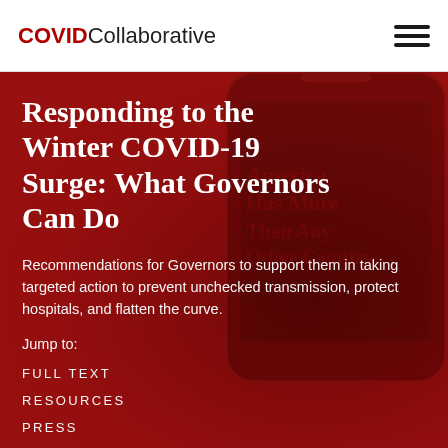COVID Collaborative
Responding to the Winter COVID-19 Surge: What Governors Can Do
Recommendations for Governors to support them in taking targeted action to prevent unchecked transmission, protect hospitals, and flatten the curve.
Jump to:
FULL TEXT
RESOURCES
PRESS